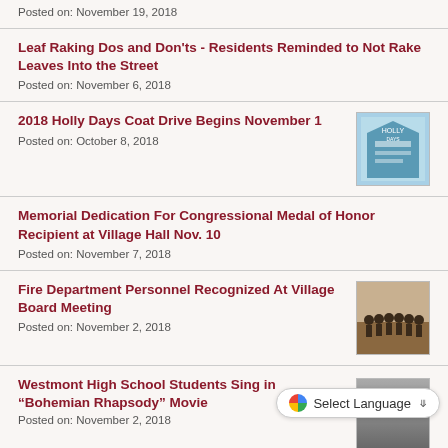Posted on: November 19, 2018
Leaf Raking Dos and Don'ts - Residents Reminded to Not Rake Leaves Into the Street
Posted on: November 6, 2018
2018 Holly Days Coat Drive Begins November 1
Posted on: October 8, 2018
[Figure (photo): Holly Days Coat Drive flyer image]
Memorial Dedication For Congressional Medal of Honor Recipient at Village Hall Nov. 10
Posted on: November 7, 2018
Fire Department Personnel Recognized At Village Board Meeting
Posted on: November 2, 2018
[Figure (photo): Group photo of fire department personnel]
Westmont High School Students Sing in “Bohemian Rhapsody” Movie
Posted on: November 2, 2018